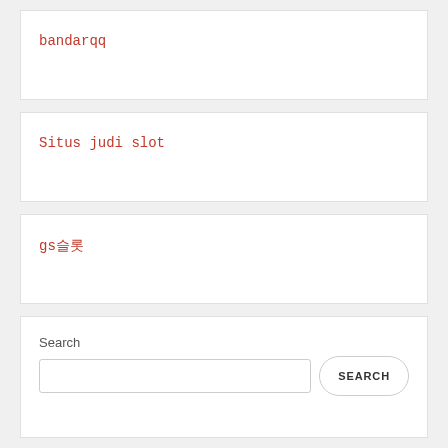bandarqq
Situs judi slot
gs슬롯
Search